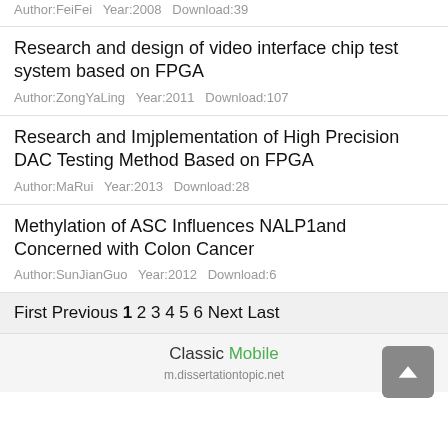Author:FeiFei   Year:2008   Download:39
Research and design of video interface chip test system based on FPGA
Author:ZongYaLing   Year:2011   Download:107
Research and Imjplementation of High Precision DAC Testing Method Based on FPGA
Author:MaRui   Year:2013   Download:28
Methylation of ASC Influences NALP1and Concerned with Colon Cancer
Author:SunJianGuo   Year:2012   Download:6
First Previous 1 2 3 4 5 6 Next Last
Classic Mobile
m.dissertationtopic.net